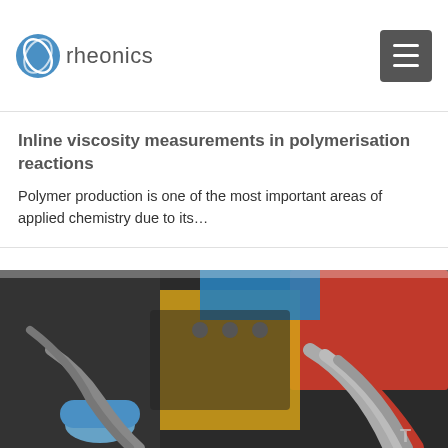rheonics
Inline viscosity measurements in polymerisation reactions
Polymer production is one of the most important areas of applied chemistry due to its…
[Figure (photo): Close-up photograph of a complex racing car engine with red, blue, yellow components and metallic exhaust pipes]